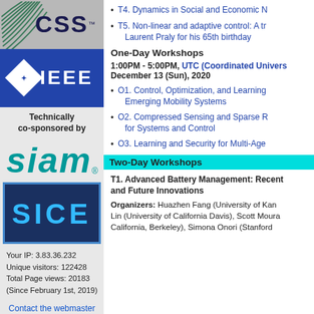[Figure (logo): CSS logo with concentric arc lines and CSS text]
[Figure (logo): IEEE logo blue background with diamond and IEEE text]
Technically co-sponsored by
[Figure (logo): SIAM logo in teal italic text]
[Figure (logo): SICE logo in blue on dark blue background]
Your IP: 3.83.36.232
Unique visitors: 122428
Total Page views: 20183
(Since February 1st, 2019)
Contact the webmaster
T4. Dynamics in Social and Economic N...
T5. Non-linear and adaptive control: A tr... Laurent Praly for his 65th birthday
One-Day Workshops
1:00PM - 5:00PM, UTC (Coordinated Univers... December 13 (Sun), 2020
O1. Control, Optimization, and Learning... Emerging Mobility Systems
O2. Compressed Sensing and Sparse R... for Systems and Control
O3. Learning and Security for Multi-Age...
Two-Day Workshops
T1. Advanced Battery Management: Recent... and Future Innovations
Organizers: Huazhen Fang (University of Kan... Lin (University of California Davis), Scott Moura... California, Berkeley), Simona Onori (Stanford...